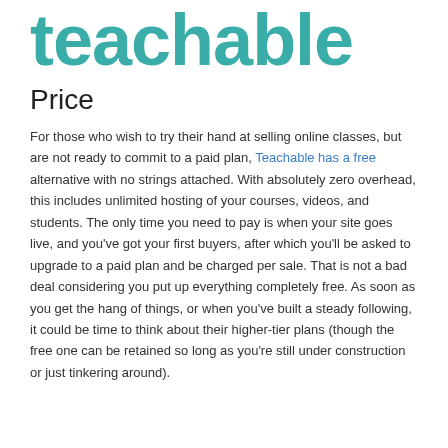[Figure (logo): Teachable logo in teal/green color large text]
Price
For those who wish to try their hand at selling online classes, but are not ready to commit to a paid plan, Teachable has a free alternative with no strings attached. With absolutely zero overhead, this includes unlimited hosting of your courses, videos, and students. The only time you need to pay is when your site goes live, and you've got your first buyers, after which you'll be asked to upgrade to a paid plan and be charged per sale. That is not a bad deal considering you put up everything completely free. As soon as you get the hang of things, or when you've built a steady following, it could be time to think about their higher-tier plans (though the free one can be retained so long as you're still under construction or just tinkering around).